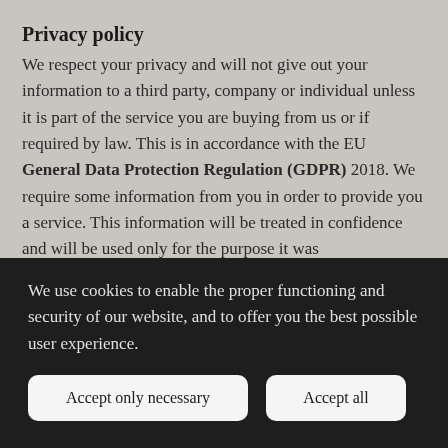Privacy policy
We respect your privacy and will not give out your information to a third party, company or individual unless it is part of the service you are buying from us or if required by law. This is in accordance with the EU General Data Protection Regulation (GDPR) 2018. We require some information from you in order to provide you a service. This information will be treated in confidence and will be used only for the purpose it was
We use cookies to enable the proper functioning and security of our website, and to offer you the best possible user experience.
Accept only necessary
Accept all